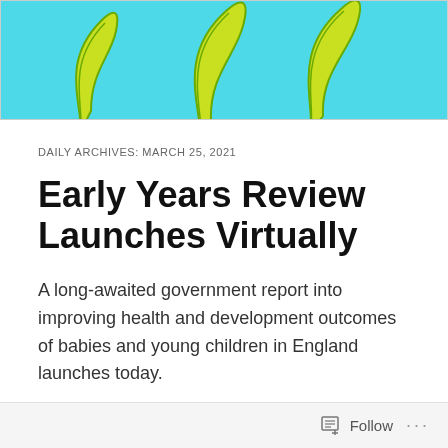[Figure (illustration): Top portion of a logo or illustration on a cyan/turquoise background showing curved yellow-green feather or claw shapes]
DAILY ARCHIVES: MARCH 25, 2021
Early Years Review Launches Virtually
A long-awaited government report into improving health and development outcomes of babies and young children in England launches today.
The Early Years Review, led by Andrea Leadsom MP, will launch virtually this afternoon, on Zoom.
Follow ...